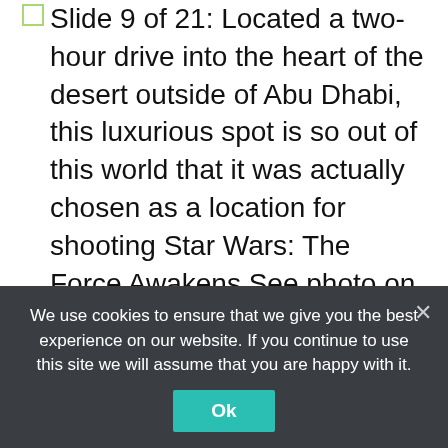Slide 9 of 21: Located a two-hour drive into the heart of the desert outside of Abu Dhabi, this luxurious spot is so out of this world that it was actually chosen as a location for shooting Star Wars: The Force Awakens.See photo on Facebook
Slide 10 of 21: In the center of Australia, you'll find the gigantic Uluru, an iconic spot that is one of the country's most loved tourist attractions. And for those with the inclination, and the budget, you can stay right on its doorstep in the stunning Longitude 131, a luxury ecocamp offering the unique opportunity to spend the
We use cookies to ensure that we give you the best experience on our website. If you continue to use this site we will assume that you are happy with it.